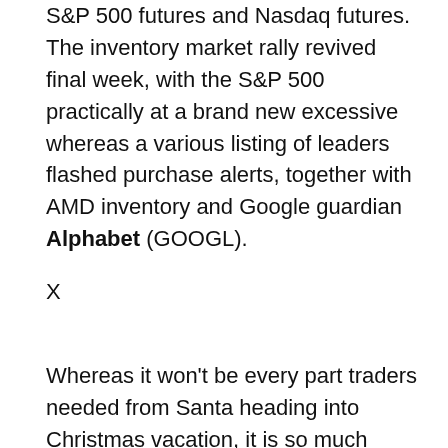S&P 500 futures and Nasdaq futures. The inventory market rally revived final week, with the S&P 500 practically at a brand new excessive whereas a various listing of leaders flashed purchase alerts, together with AMD inventory and Google guardian Alphabet (GOOGL).
X
Whereas it won't be every part traders needed from Santa heading into Christmas vacation, it is so much higher than the lump of coal they had been anticipating after Monday, Dec. 19.